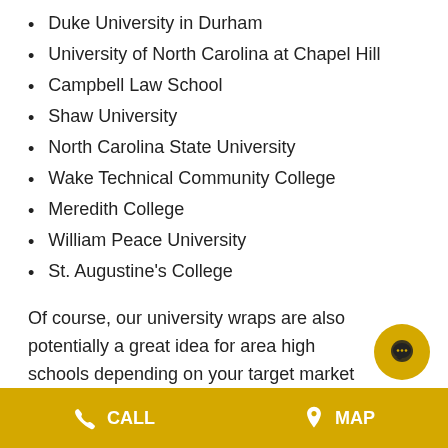Duke University in Durham
University of North Carolina at Chapel Hill
Campbell Law School
Shaw University
North Carolina State University
Wake Technical Community College
Meredith College
William Peace University
St. Augustine's College
Of course, our university wraps are also potentially a great idea for area high schools depending on your target market and could also be a great way for a university to reach students to get them interested in attending once they graduate.
CALL   MAP